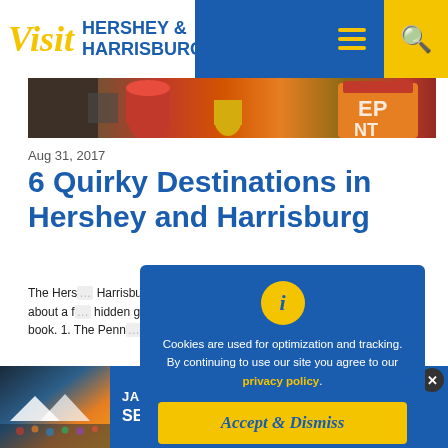[Figure (logo): Visit Hershey & Harrisburg logo with blue header bar, hamburger menu icon, and yellow search button]
[Figure (photo): Hero image strip showing colorful objects including red fire extinguisher and orange item]
Aug 31, 2017
6 Quirky Destinations in Hershey and Harrisburg
The Hers… Harrisburg Region is famous for a lot of things, but let's talk about a f… hidden gems that you won't find in your average guide book. 1. The Penn… firehouse… all the be…
Read Mo…
[Figure (screenshot): Cookie consent popup overlay with blue background, yellow info icon, text about cookies and privacy policy, and yellow Accept & Dismiss button]
[Figure (photo): Bottom banner showing jazz festival outdoor scene with tents]
JAZZ UP YOUR WEEKEND! SEPTEMBER 10 & 11 LEARN MORE